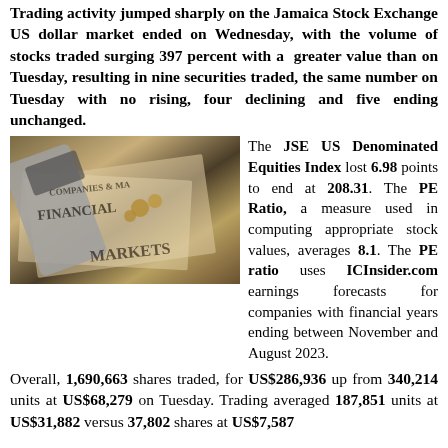Trading activity jumped sharply on the Jamaica Stock Exchange US dollar market ended on Wednesday, with the volume of stocks traded surging 397 percent with a greater value than on Tuesday, resulting in nine securities traded, the same number on Tuesday with no rising, four declining and five ending unchanged.
[Figure (photo): Photo of a calculator lying on financial newspaper pages showing text 'COMPANIES & MARKETS', 'FINANCIAL', 'MARKETS' with coins scattered around]
The JSE US Denominated Equities Index lost 6.98 points to end at 208.31. The PE Ratio, a measure used in computing appropriate stock values, averages 8.1. The PE ratio uses ICInsider.com earnings forecasts for companies with financial years ending between November and August 2023.
Overall, 1,690,663 shares traded, for US$286,936 up from 340,214 units at US$68,279 on Tuesday. Trading averaged 187,851 units at US$31,882 versus 37,802 shares at US$7,587